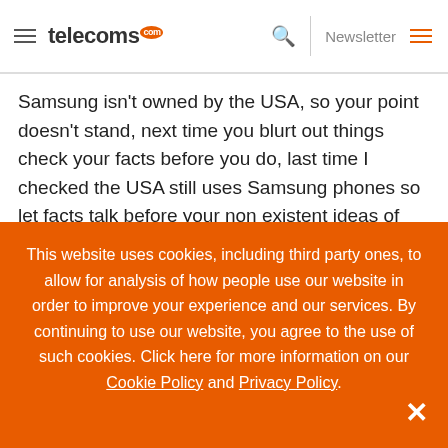telecoms.com | Newsletter
Samsung isn't owned by the USA, so your point doesn't stand, next time you blurt out things check your facts before you do, last time I checked the USA still uses Samsung phones so let facts talk before your non existent ideas of how things work.
Freya 17/07/2020 @ 2:46 am  Reply
This website uses cookies, including third party ones, to allow for analysis of how people use our website in order to improve your experience and our services. By continuing to use our website, you agree to the use of such cookies. Click here for more information on our Cookie Policy and Privacy Policy.